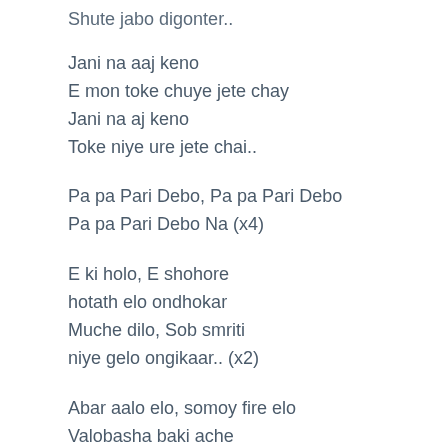Shute jabo digonter..
Jani na aaj keno
E mon toke chuye jete chay
Jani na aj keno
Toke niye ure jete chai..
Pa pa Pari Debo, Pa pa Pari Debo
Pa pa Pari Debo Na (x4)
E ki holo, E shohore
hotath elo ondhokar
Muche dilo, Sob smriti
niye gelo ongikaar.. (x2)
Abar aalo elo, somoy fire elo
Valobasha baki ache